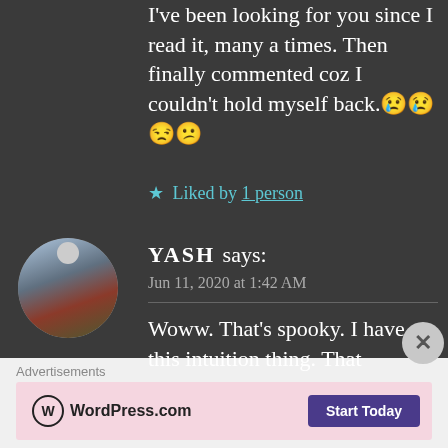I've been looking for you since I read it, many a times. Then finally commented coz I couldn't hold myself back.😢😢😒😕
★ Liked by 1 person
YASH says: Jun 11, 2020 at 1:42 AM
Woww. That's spooky. I have this intuition thing. That
[Figure (other): WordPress.com advertisement banner with Start Today button]
Advertisements